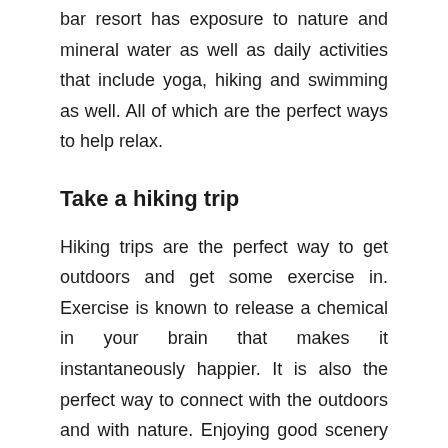bar resort has exposure to nature and mineral water as well as daily activities that include yoga, hiking and swimming as well. All of which are the perfect ways to help relax.
Take a hiking trip
Hiking trips are the perfect way to get outdoors and get some exercise in. Exercise is known to release a chemical in your brain that makes it instantaneously happier. It is also the perfect way to connect with the outdoors and with nature. Enjoying good scenery can be a great way to experience something new and something that is out of our regular routine.
Get outdoors and camp
A camping trip is also a fun idea because you are able to